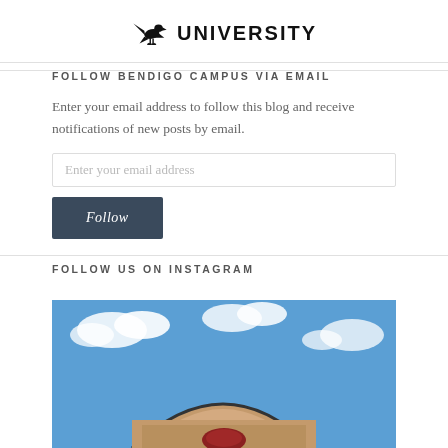[Figure (logo): University logo with eagle/hawk bird graphic and text UNIVERSITY]
FOLLOW BENDIGO CAMPUS VIA EMAIL
Enter your email address to follow this blog and receive notifications of new posts by email.
Enter your email address
Follow
FOLLOW US ON INSTAGRAM
[Figure (photo): Photograph of a curved building roofline against a blue sky with clouds]